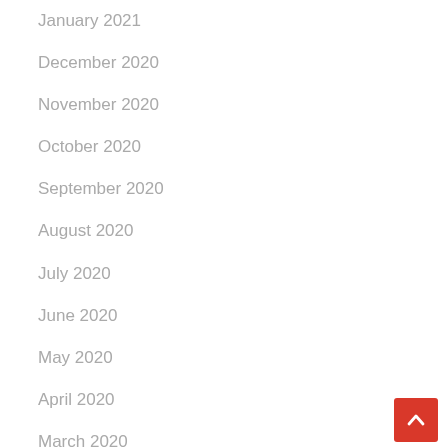January 2021
December 2020
November 2020
October 2020
September 2020
August 2020
July 2020
June 2020
May 2020
April 2020
March 2020
February 2020
October 2019